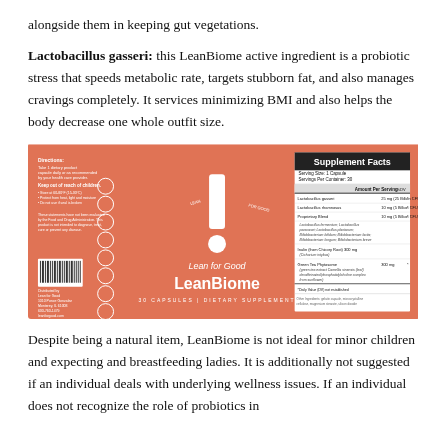alongside them in keeping gut vegetations.
Lactobacillus gasseri: this LeanBiome active ingredient is a probiotic stress that speeds metabolic rate, targets stubborn fat, and also manages cravings completely. It services minimizing BMI and also helps the body decrease one whole outfit size.
[Figure (photo): LeanBiome supplement bottle label on salmon/orange background showing Supplement Facts panel with ingredients including Lactobacillus gasseri 25mg, Lactobacillus rhamnosus 10mg, Proprietary Blend 10mg, Inulin 300mg, Green Tea Phytosome 300mg. Label reads 'Lean for Good LeanBiome 30 Capsules Dietary Supplement'.]
Despite being a natural item, LeanBiome is not ideal for minor children and expecting and breastfeeding ladies. It is additionally not suggested if an individual deals with underlying wellness issues. If an individual does not recognize the role of probiotics in